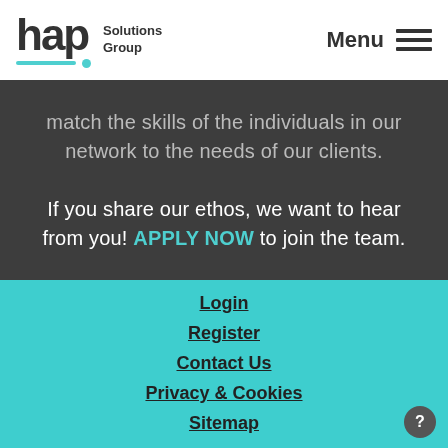[Figure (logo): hap Solutions Group logo with teal underline and dot, plus hamburger Menu icon]
match the skills of the individuals in our network to the needs of our clients. If you share our ethos, we want to hear from you! APPLY NOW to join the team.
Login
Register
Contact Us
Privacy & Cookies
Sitemap